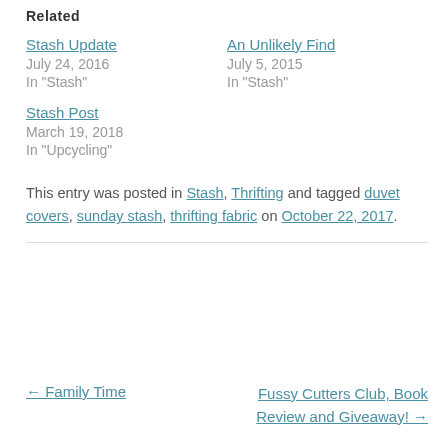Related
Stash Update
July 24, 2016
In "Stash"
An Unlikely Find
July 5, 2015
In "Stash"
Stash Post
March 19, 2018
In "Upcycling"
This entry was posted in Stash, Thrifting and tagged duvet covers, sunday stash, thrifting fabric on October 22, 2017.
← Family Time
Fussy Cutters Club, Book Review and Giveaway! →